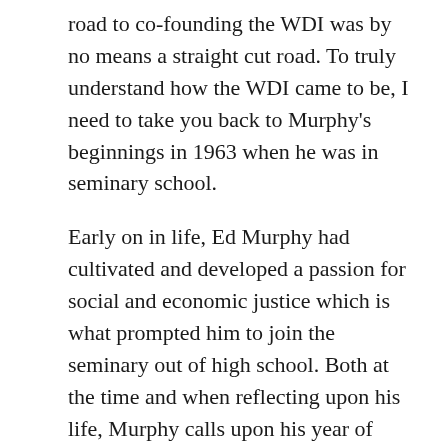road to co-founding the WDI was by no means a straight cut road. To truly understand how the WDI came to be, I need to take you back to Murphy's beginnings in 1963 when he was in seminary school.
Early on in life, Ed Murphy had cultivated and developed a passion for social and economic justice which is what prompted him to join the seminary out of high school. Both at the time and when reflecting upon his life, Murphy calls upon his year of silence in the woods as a transformative period where he became acutely aware of what he wanted to do with his life. Completely cut off from the outside world and left alone only with his thoughts, he realized priesthood was not where he could act on his interest and passion of social and economic justice at the level he wanted to. He then left the seminary, and enlisted in the army. It was here where